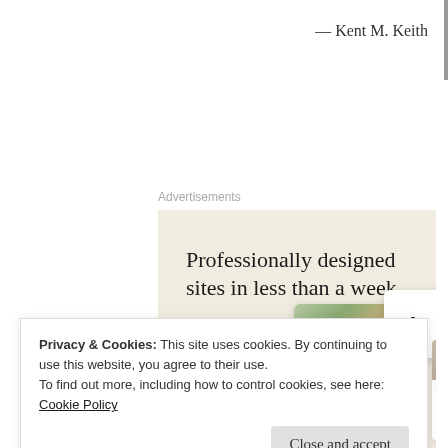— Kent M. Keith
Advertisements
[Figure (screenshot): Advertisement banner with beige background reading 'Professionally designed sites in less than a week' with a green 'Explore options' button and mock website screenshots on the right]
Privacy & Cookies: This site uses cookies. By continuing to use this website, you agree to their use.
To find out more, including how to control cookies, see here: Cookie Policy
Close and accept